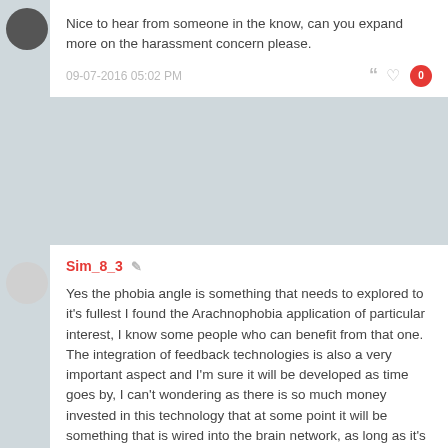Nice to hear from someone in the know, can you expand more on the harassment concern please.
09-07-2016 05:02 PM
Sim_8_3
Yes the phobia angle is something that needs to explored to it's fullest I found the Arachnophobia application of particular interest, I know some people who can benefit from that one. The integration of feedback technologies is also a very important aspect and I'm sure it will be developed as time goes by, I can't wondering as there is so much money invested in this technology that at some point it will be something that is wired into the brain network, as long as it's not integrated like the Borg, perhaps it would something non invasive?
09-07-2016 05:09 PM